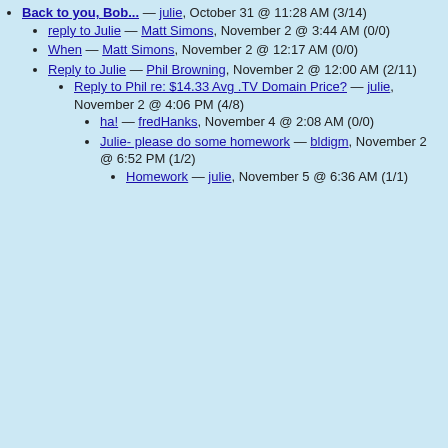Back to you, Bob... — julie, October 31 @ 11:28 AM (3/14)
reply to Julie — Matt Simons, November 2 @ 3:44 AM (0/0)
When — Matt Simons, November 2 @ 12:17 AM (0/0)
Reply to Julie — Phil Browning, November 2 @ 12:00 AM (2/11)
Reply to Phil re: $14.33 Avg .TV Domain Price? — julie, November 2 @ 4:06 PM (4/8)
ha! — fredHanks, November 4 @ 2:08 AM (0/0)
Julie- please do some homework — bldigm, November 2 @ 6:52 PM (1/2)
Homework — julie, November 5 @ 6:36 AM (1/1)